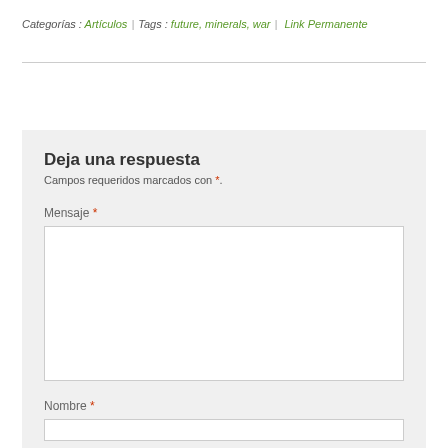Categorías : Artículos | Tags : future, minerals, war | Link Permanente
Deja una respuesta
Campos requeridos marcados con *.
Mensaje *
Nombre *